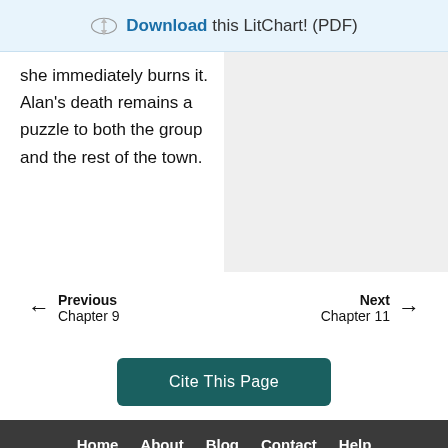Download this LitChart! (PDF)
she immediately burns it. Alan's death remains a puzzle to both the group and the rest of the town.
Previous Chapter 9
Next Chapter 11
Cite This Page
Home About Blog Contact Help Copyright © 2022 All Rights Reserved Terms Privacy GDPR